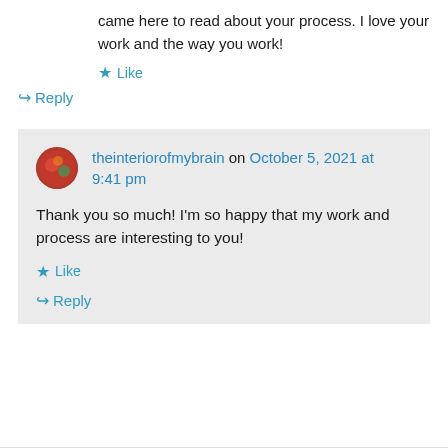came here to read about your process. I love your work and the way you work!
★ Like
↳ Reply
theinteriorofmybrain on October 5, 2021 at 9:41 pm
Thank you so much! I'm so happy that my work and process are interesting to you!
★ Like
↳ Reply